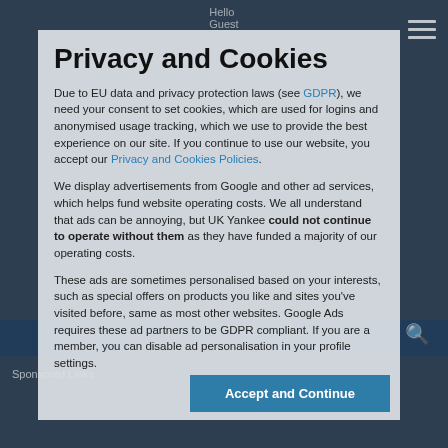Privacy and Cookies
Due to EU data and privacy protection laws (see GDPR), we need your consent to set cookies, which are used for logins and anonymised usage tracking, which we use to provide the best experience on our site. If you continue to use our website, you accept our Privacy and Cookies Policies.
We display advertisements from Google and other ad services, which helps fund website operating costs. We all understand that ads can be annoying, but UK Yankee could not continue to operate without them as they have funded a majority of our operating costs.
These ads are sometimes personalised based on your interests, such as special offers on products you like and sites you've visited before, same as most other websites. Google Ads requires these ad partners to be GDPR compliant. If you are a member, you can disable ad personalisation in your profile settings.
Accept and Continue